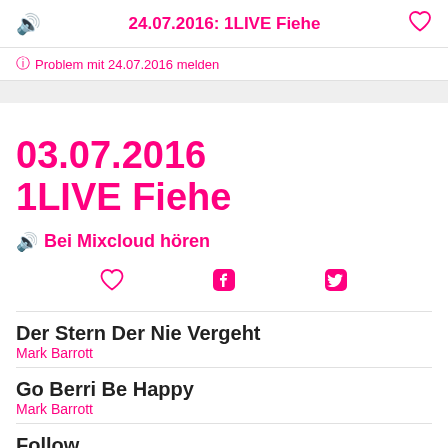24.07.2016: 1LIVE Fiehe
Problem mit 24.07.2016 melden
03.07.2016 1LIVE Fiehe
Bei Mixcloud hören
Der Stern Der Nie Vergeht — Mark Barrott
Go Berri Be Happy — Mark Barrott
Follow